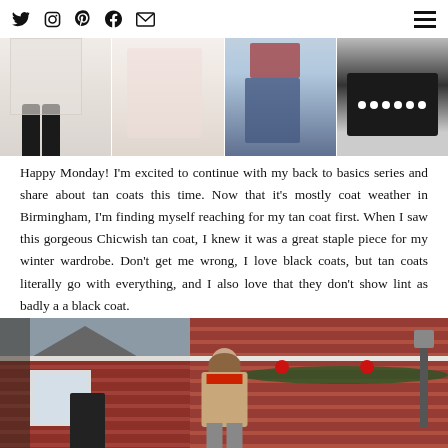Social media icons: Twitter, Instagram, Pinterest, Facebook, Email; Hamburger menu
[Figure (photo): Four-panel image strip showing fashion photos: woman in black boots with white coat, woman in light pink sweater, woman in red top with jeans, black and white polka dot item]
Happy Monday! I'm excited to continue with my back to basics series and share about tan coats this time. Now that it's mostly coat weather in Birmingham, I'm finding myself reaching for my tan coat first. When I saw this gorgeous Chicwish tan coat, I knew it was a great staple piece for my winter wardrobe.  Don't get me wrong, I love black coats, but tan coats literally go with everything, and I also love that they don't show lint as badly a a black coat.
[Figure (photo): Woman standing in front of a red house decorated with Christmas garland and red bows, wearing a tan coat with red top. The house has white trim and holiday decorations.]